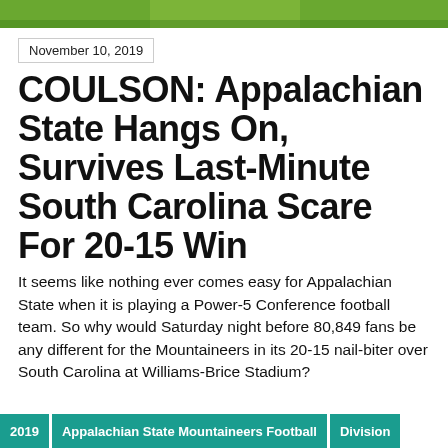[Figure (photo): Green football field image at top of page]
November 10, 2019
COULSON: Appalachian State Hangs On, Survives Last-Minute South Carolina Scare For 20-15 Win
It seems like nothing ever comes easy for Appalachian State when it is playing a Power-5 Conference football team. So why would Saturday night before 80,849 fans be any different for the Mountaineers in its 20-15 nail-biter over South Carolina at Williams-Brice Stadium?
2019
Appalachian State Mountaineers Football
Division